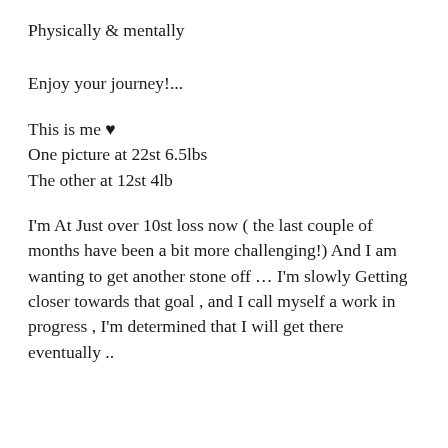Physically & mentally
Enjoy your journey!...
This is me ♥
One picture at 22st 6.5lbs
The other at 12st 4lb
I'm At Just over 10st loss now ( the last couple of months have been a bit more challenging!) And I am wanting to get another stone off … I'm slowly Getting closer towards that goal , and I call myself a work in progress , I'm determined that I will get there eventually ..